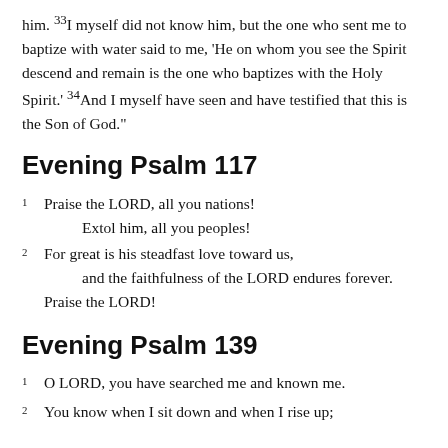him. 33I myself did not know him, but the one who sent me to baptize with water said to me, 'He on whom you see the Spirit descend and remain is the one who baptizes with the Holy Spirit.' 34And I myself have seen and have testified that this is the Son of God."
Evening Psalm 117
1  Praise the LORD, all you nations!
      Extol him, all you peoples!
2  For great is his steadfast love toward us,
      and the faithfulness of the LORD endures forever.
   Praise the LORD!
Evening Psalm 139
1  O LORD, you have searched me and known me.
2  You know when I sit down and when I rise up;